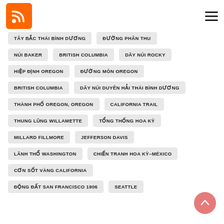RSS icon and hamburger menu
TÂY BẮC THÁI BÌNH DƯƠNG
ĐƯỜNG PHÂN THU
NÚI BAKER
BRITISH COLUMBIA
DÃY NÚI ROCKY
HIỆP ĐỊNH OREGON
ĐƯỜNG MÒN OREGON
BRITISH COLUMBIA
DÃY NÚI DUYÊN HẢI THÁI BÌNH DƯƠNG
THÀNH PHỐ OREGON, OREGON
CALIFORNIA TRAIL
THUNG LŨNG WILLAMETTE
TỔNG THỐNG HOA KỲ
MILLARD FILLMORE
JEFFERSON DAVIS
LÃNH THỔ WASHINGTON
CHIẾN TRANH HOA KỲ–MÉXICO
CƠN SỐT VÀNG CALIFORNIA
ĐỘNG ĐẤT SAN FRANCISCO 1906
SEATTLE